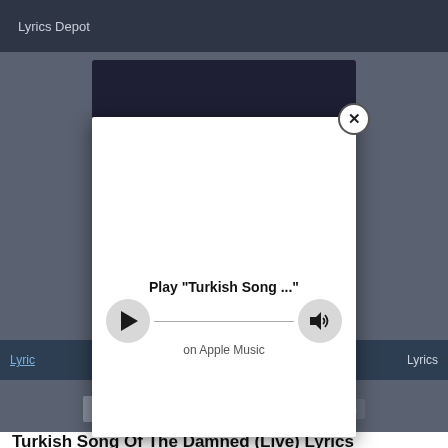Lyrics Depot
[Figure (screenshot): Apple Music play widget modal overlay showing 'Play Turkish Song ...' with play button and volume button, on a lyrics website page for Turkish Song Of The Damned (Live) Lyrics by Pogues]
Play "Turkish Song ..."
on Apple Music
Lyrics
Lyrics
Find Song Lyrics
Turkish Song Of The Damned (Live) Lyrics
Artist: Pogues (Buy Pogues CDs)